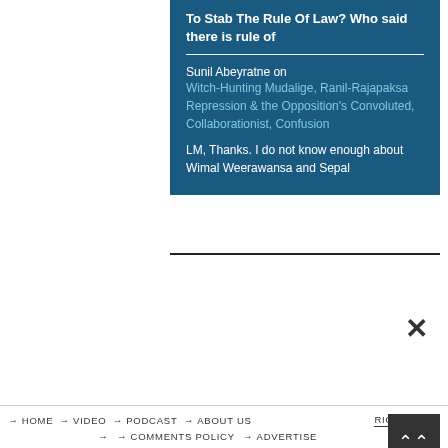To Stab The Rule Of Law? Who said there is rule of
Sunil Abeyratne on Witch-Hunting Mudalige, Ranil-Rajapaksa Repression & the Opposition's Convoluted, Collaborationist, Confusion
LM, Thanks. I do not know enough about Wimal Weerawansa and Sepal
→ HOME  → VIDEO  → PODCAST  → ABOUT US  RIGHT → LY  → COMMENTS POLICY  → ADVERTISE